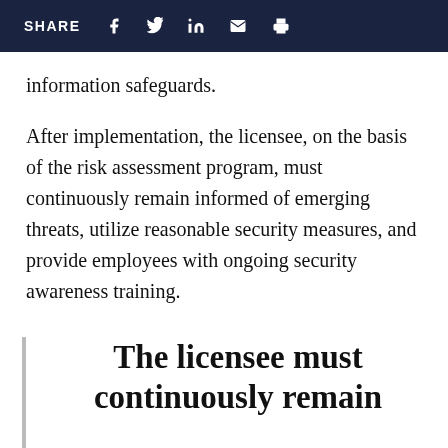SHARE
information safeguards.
After implementation, the licensee, on the basis of the risk assessment program, must continuously remain informed of emerging threats, utilize reasonable security measures, and provide employees with ongoing security awareness training.
The licensee must continuously remain